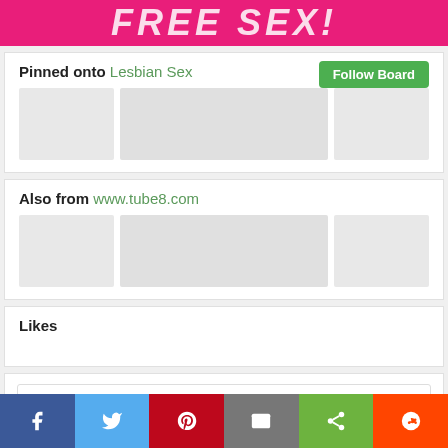[Figure (illustration): Pink banner with bold white stylized text, partially visible logo or title text]
Pinned onto Lesbian Sex
[Figure (photo): Row of thumbnail images (placeholders)]
Also from www.tube8.com
[Figure (photo): Row of thumbnail images (placeholders)]
Likes
Search
[Figure (infographic): Social share bar with Facebook, Twitter, Pinterest, Email, Share, and Reddit buttons]